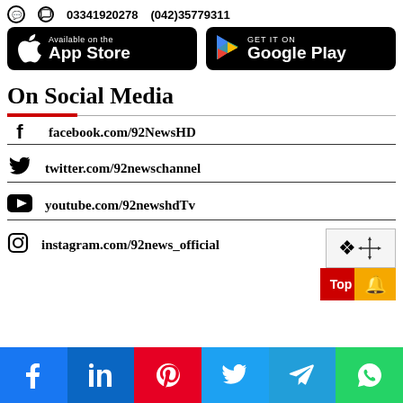03341920278   (042)35779311
[Figure (other): App Store and Google Play download buttons]
On Social Media
facebook.com/92NewsHD
twitter.com/92newschannel
youtube.com/92newshdTv
instagram.com/92news_official
[Figure (other): Bottom social media icon bar: Facebook, LinkedIn, Pinterest, Twitter, Telegram, WhatsApp]